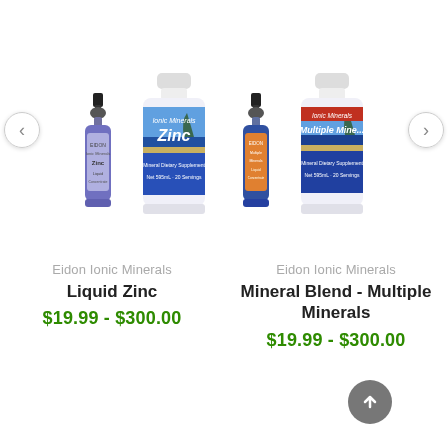[Figure (photo): Two product images side by side in a carousel. Left: Eidon Ionic Minerals Liquid Zinc (small dropper bottle and large bottle). Right: Eidon Ionic Minerals Multiple Minerals (small dropper bottle and large bottle). Carousel navigation arrows on left and right sides.]
Eidon Ionic Minerals
Liquid Zinc
$19.99 - $300.00
Eidon Ionic Minerals
Mineral Blend - Multiple Minerals
$19.99 - $300.00